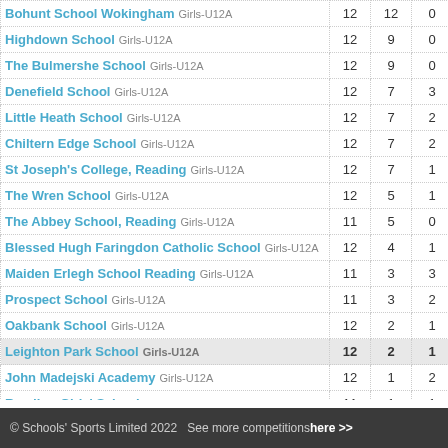| School | P | W | D | L |
| --- | --- | --- | --- | --- |
| Bohunt School Wokingham Girls-U12A | 12 | 12 | 0 | 0 |
| Highdown School Girls-U12A | 12 | 9 | 0 | 3 |
| The Bulmershe School Girls-U12A | 12 | 9 | 0 | 3 |
| Denefield School Girls-U12A | 12 | 7 | 3 | 2 |
| Little Heath School Girls-U12A | 12 | 7 | 2 | 3 |
| Chiltern Edge School Girls-U12A | 12 | 7 | 2 | 3 |
| St Joseph's College, Reading Girls-U12A | 12 | 7 | 1 | 4 |
| The Wren School Girls-U12A | 12 | 5 | 1 | 6 |
| The Abbey School, Reading Girls-U12A | 11 | 5 | 0 | 6 |
| Blessed Hugh Faringdon Catholic School Girls-U12A | 12 | 4 | 1 | 7 |
| Maiden Erlegh School Reading Girls-U12A | 11 | 3 | 3 | 5 |
| Prospect School Girls-U12A | 11 | 3 | 2 | 6 |
| Oakbank School Girls-U12A | 12 | 2 | 1 | 9 |
| Leighton Park School Girls-U12A | 12 | 2 | 1 | 9 |
| John Madejski Academy Girls-U12A | 12 | 1 | 2 | 9 |
| Reading Girls' School Girls-U12A | 11 | 1 | 1 | 9 |
© Schools' Sports Limited 2022   See more competitions here >>